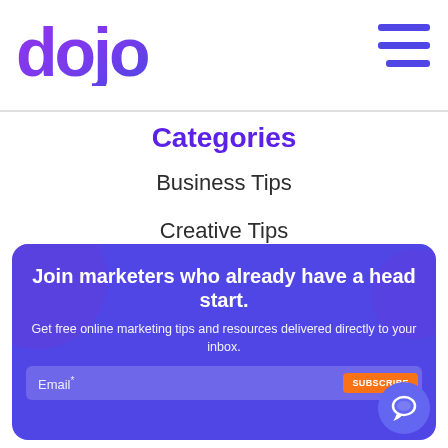[Figure (logo): Dojo logo in purple/violet gradient with stylized lettering]
[Figure (other): Hamburger menu icon with three horizontal purple lines]
Categories
Business Tips
Creative Tips
Industry News
Join marketers who already have a head start.
Get free online marketing tips and resources delivered directly to your inbox.
Email*  SUBSCRIBE